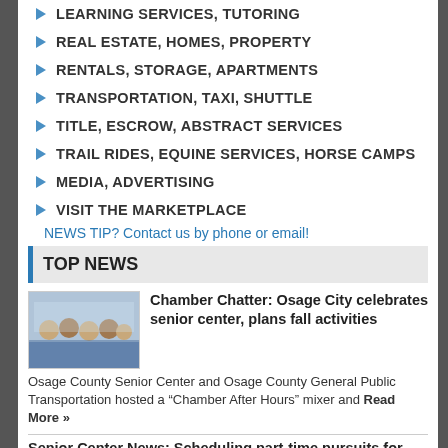LEARNING SERVICES, TUTORING
REAL ESTATE, HOMES, PROPERTY
RENTALS, STORAGE, APARTMENTS
TRANSPORTATION, TAXI, SHUTTLE
TITLE, ESCROW, ABSTRACT SERVICES
TRAIL RIDES, EQUINE SERVICES, HORSE CAMPS
MEDIA, ADVERTISING
VISIT THE MARKETPLACE
NEWS TIP? Contact us by phone or email!
TOP NEWS
[Figure (photo): Group photo at senior center event]
Chamber Chatter: Osage City celebrates senior center, plans fall activities
Osage County Senior Center and Osage County General Public Transportation hosted a “Chamber After Hours” mixer and Read More »
Senior Center News: Scheduling part-time pursuits for full-time fun